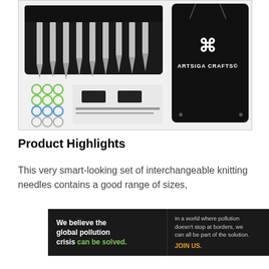[Figure (photo): Product photo showing interchangeable knitting needle set in black case, accessories including stitch markers, and an Artsiga Crafts branded black drawstring bag]
Product Highlights
This very smart-looking set of interchangeable knitting needles contains a good range of sizes,
[Figure (other): Pure Earth advertisement banner: 'We believe the global pollution crisis can be solved. In a world where pollution doesn't stop at borders, we can all be part of the solution. JOIN US.' with Pure Earth logo]